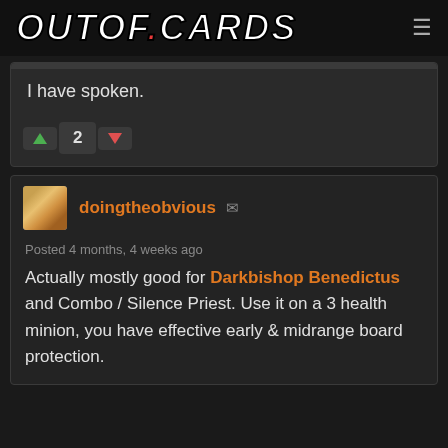OUTOF.CARDS
I have spoken.
2
doingtheobvious
Posted 4 months, 4 weeks ago
Actually mostly good for Darkbishop Benedictus and Combo / Silence Priest. Use it on a 3 health minion, you have effective early & midrange board protection.